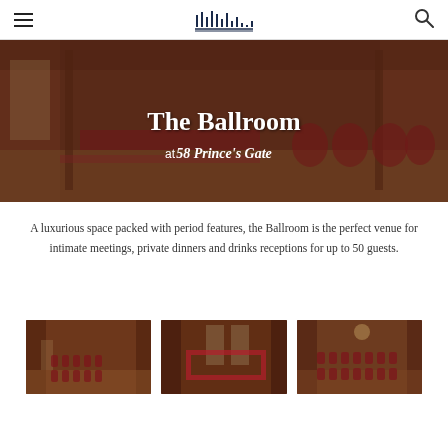Navigation bar with hamburger menu, logo, and search icon
[Figure (photo): Interior photo of The Ballroom at 58 Prince's Gate showing an ornate room with wood paneling, red furnishings, and chairs arranged for an event]
The Ballroom at 58 Prince's Gate
A luxurious space packed with period features, the Ballroom is the perfect venue for intimate meetings, private dinners and drinks receptions for up to 50 guests.
[Figure (photo): Thumbnail photo of the Ballroom showing rows of chairs in theatre style setup]
[Figure (photo): Thumbnail photo of the Ballroom showing a U-shaped table setup with red tablecloths]
[Figure (photo): Thumbnail photo of the Ballroom showing another seating configuration]